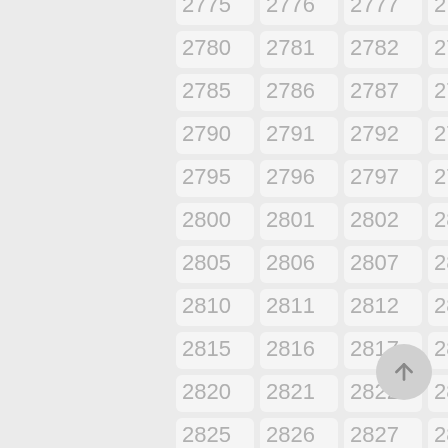[Figure (other): A grid of numbered cells from 2775 to 2829, arranged in 5 columns and 12 rows, with light gray rounded rectangle cells on a light gray background. Each cell shows a number in gray text. A circular scroll-to-top button with an upward arrow is visible at the bottom right.]